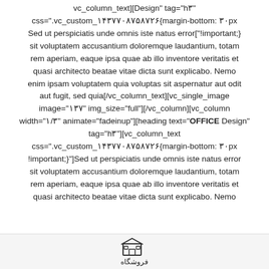vc_column_text][Design" tag="h۳" css=".vc_custom_۱۴۳۷۷۰۸۷۵۸۷۲۶{margin-bottom: ۳۰px Sed ut perspiciatis unde omnis iste natus error["!important;} sit voluptatem accusantium doloremque laudantium, totam rem aperiam, eaque ipsa quae ab illo inventore veritatis et quasi architecto beatae vitae dicta sunt explicabo. Nemo enim ipsam voluptatem quia voluptas sit aspernatur aut odit aut fugit, sed quia[/vc_column_text][vc_single_image image="۱۳۷" img_size="full"][/vc_column][vc_column width="۱/۳" animate="fadeinup"][heading text="OFFICE Design" tag="h۳"][vc_column_text css=".vc_custom_۱۴۳۷۷۰۸۷۵۸۷۲۶{margin-bottom: ۳۰px !important;}"]Sed ut perspiciatis unde omnis iste natus error sit voluptatem accusantium doloremque laudantium, totam rem aperiam, eaque ipsa quae ab illo inventore veritatis et quasi architecto beatae vitae dicta sunt explicabo. Nemo
[Figure (logo): Shop/store icon with Persian label 'فروشگاه' (store)]